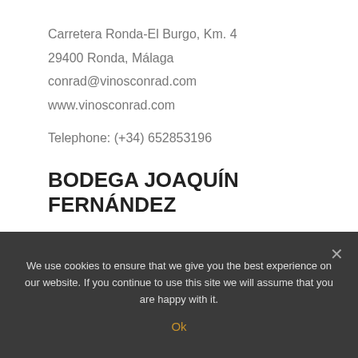Carretera Ronda-El Burgo, Km. 4
29400 Ronda, Málaga
conrad@vinosconrad.com
www.vinosconrad.com
Telephone: (+34) 652853196
BODEGA JOAQUÍN FERNÁNDEZ
Partido Rural Los Frontones, s/n. Finca los Frutales
29400 Ronda, Málaga (Andalucía)
We use cookies to ensure that we give you the best experience on our website. If you continue to use this site we will assume that you are happy with it.
Ok